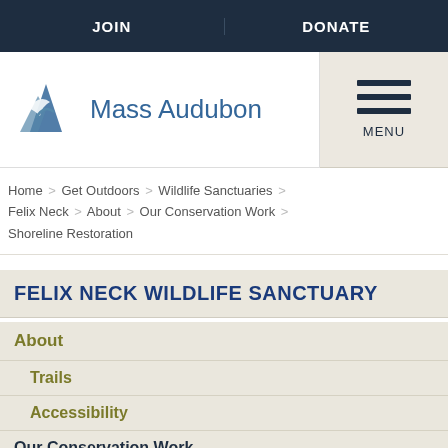JOIN | DONATE
[Figure (logo): Mass Audubon logo with bird/mountain graphic and text 'Mass Audubon']
[Figure (other): Hamburger menu icon with three horizontal lines and 'MENU' label]
Home > Get Outdoors > Wildlife Sanctuaries > Felix Neck > About > Our Conservation Work > Shoreline Restoration
FELIX NECK WILDLIFE SANCTUARY
About
Trails
Accessibility
Our Conservation Work
Osprey Monitoring